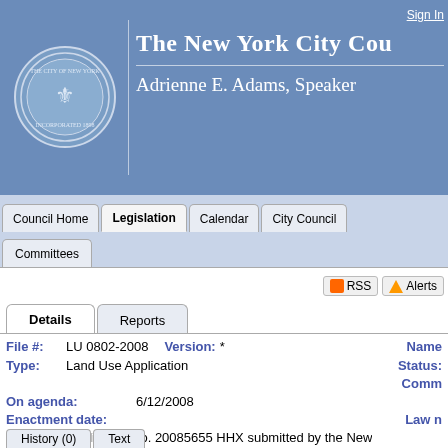The New York City Council — Adrienne E. Adams, Speaker
Sign In
Council Home | Legislation | Calendar | City Council | Committees
RSS  Alerts
Details  Reports
File #: LU 0802-2008  Version: *  Name
Type: Land Use Application  Status: Comm
On agenda: 6/12/2008
Enactment date:  Law n
Title: Application no. 20085655 HHX submitted by the New York City... respecting the leasing of property on the Jacobi Medic...
Sponsors: Melinda R. Katz
Council Member Sponsors: 1
Attachments: 1. Hearing Testimony - Landmarks 6/17/08, 2. Hearin...